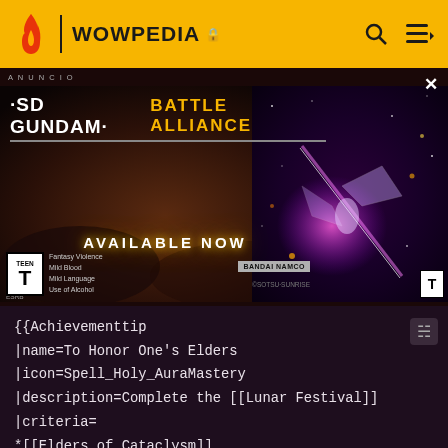WOWPEDIA
[Figure (photo): SD Gundam Battle Alliance advertisement banner showing mecha robots with 'AVAILABLE NOW' text, ESRB Teen rating, and Bandai Namco branding]
{{Achievementtip
|name=To Honor One's Elders
|icon=Spell_Holy_AuraMastery
|description=Complete the [[Lunar Festival]]
|criteria=
*[[Elders of Cataclysm]]
*[[Elders of Eastern Kingdoms]]
*[[Elders of Kalimdor]]
*[[Elders of the Dungeons]]